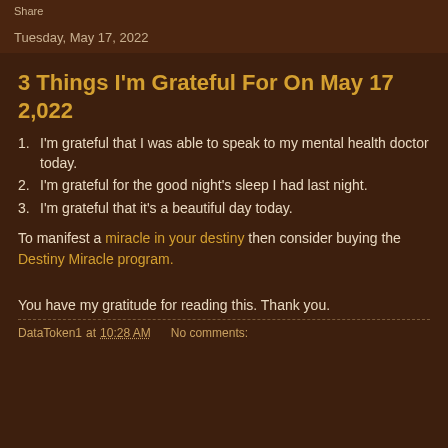Share
Tuesday, May 17, 2022
3 Things I'm Grateful For On May 17 2,022
I'm grateful that I was able to speak to my mental health doctor today.
I'm grateful for the good night's sleep I had last night.
I'm grateful that it's a beautiful day today.
To manifest a miracle in your destiny then consider buying the Destiny Miracle program.
You have my gratitude for reading this. Thank you.
DataToken1 at 10:28 AM   No comments: